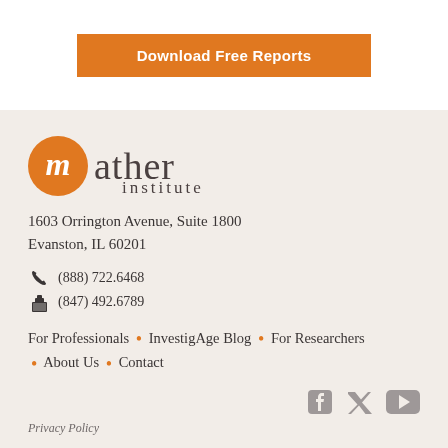Download Free Reports
[Figure (logo): Mather Institute logo: orange circle with stylized M, followed by cursive 'mather' and serif 'institute' text]
1603 Orrington Avenue, Suite 1800
Evanston, IL 60201
(888) 722.6468
(847) 492.6789
For Professionals • InvestigAge Blog • For Researchers • About Us • Contact
[Figure (illustration): Social media icons: Facebook, Twitter, YouTube in gray]
Privacy Policy